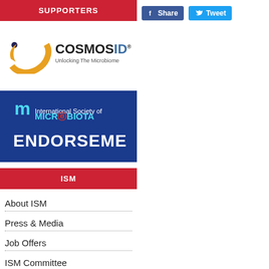SUPPORTERS
[Figure (logo): CosmoID logo with golden crescent shape, text COSMOSID and tagline Unlocking The Microbiome]
[Figure (logo): International Society of Microbiota ENDORSEMENT banner on dark blue background]
ISM
About ISM
Press & Media
Job Offers
ISM Committee
ISM Membership
[Figure (screenshot): Facebook Share button and Twitter Tweet button in top right area]